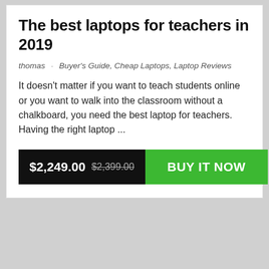The best laptops for teachers in 2019
thomas · Buyer's Guide, Cheap Laptops, Laptop Reviews
It doesn't matter if you want to teach students online or you want to walk into the classroom without a chalkboard, you need the best laptop for teachers. Having the right laptop ...
[Figure (other): Buy button showing price $2,249.00 with strikethrough $2,399.00 and green BUY IT NOW button]